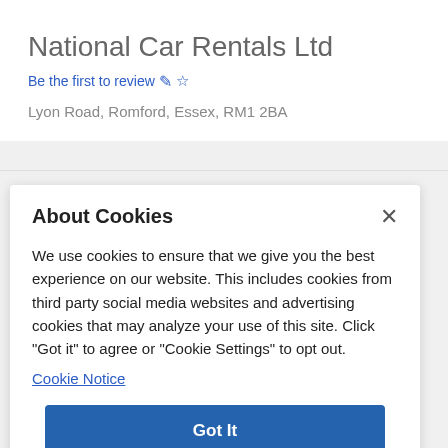National Car Rentals Ltd
Be the first to review ✏☆
Lyon Road, Romford, Essex, RM1 2BA
About Cookies
We use cookies to ensure that we give you the best experience on our website. This includes cookies from third party social media websites and advertising cookies that may analyze your use of this site. Click "Got it" to agree or "Cookie Settings" to opt out.
Cookie Notice
Got It
Cookies Settings